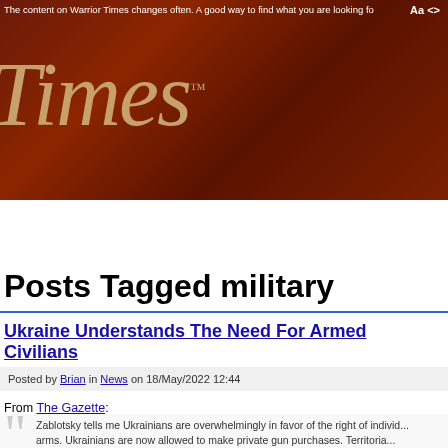The content on Warrior Times changes often. A good way to find what you are looking fo
[Figure (logo): Warrior Times logo - large italic serif 'Times' text in tan/gold color on dark brown textured background with trademark symbol]
Comms | Law | Medic | News | Opinion | Threat Watch | Training
Posts Tagged military
Ukraine Understands The Need For Armed Civilians
Posted by Brian in News on 18/May/2022 12:44
From The Gazette:
Zablotsky tells me Ukrainians are overwhelmingly in favor of the right of individ... arms. Ukrainians are now allowed to make private gun purchases. Territoria...